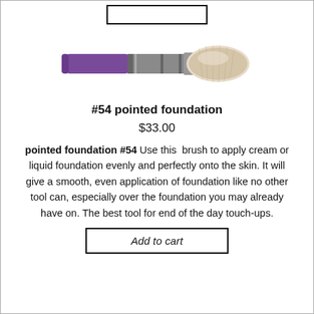[Figure (photo): A makeup foundation brush (#54 pointed foundation) with a purple and silver metallic handle and a rounded, dense bristle head made of light-colored synthetic fibers.]
#54 pointed foundation
$33.00
pointed foundation #54 Use this brush to apply cream or liquid foundation evenly and perfectly onto the skin. It will give a smooth, even application of foundation like no other tool can, especially over the foundation you may already have on. The best tool for end of the day touch-ups.
Add to cart